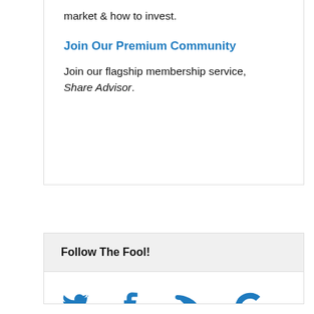market & how to invest.
Join Our Premium Community
Join our flagship membership service, Share Advisor.
Follow The Fool!
[Figure (illustration): Social media icons: Twitter bird, Facebook f, RSS feed, Google G — all in blue]